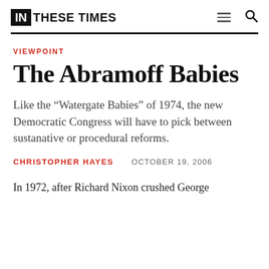IN THESE TIMES
VIEWPOINT
The Abramoff Babies
Like the “Watergate Babies” of 1974, the new Democratic Congress will have to pick between sustanative or procedural reforms.
CHRISTOPHER HAYES    OCTOBER 19, 2006
In 1972, after Richard Nixon crushed George